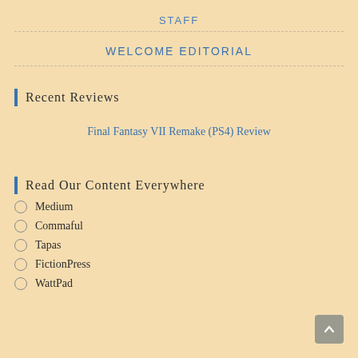STAFF
WELCOME EDITORIAL
Recent Reviews
Final Fantasy VII Remake (PS4) Review
Read Our Content Everywhere
Medium
Commaful
Tapas
FictionPress
WattPad